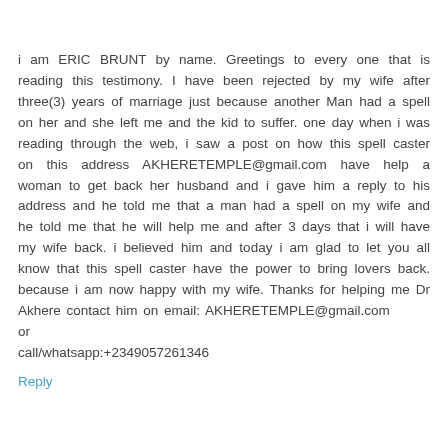i am ERIC BRUNT by name. Greetings to every one that is reading this testimony. I have been rejected by my wife after three(3) years of marriage just because another Man had a spell on her and she left me and the kid to suffer. one day when i was reading through the web, i saw a post on how this spell caster on this address AKHERETEMPLE@gmail.com have help a woman to get back her husband and i gave him a reply to his address and he told me that a man had a spell on my wife and he told me that he will help me and after 3 days that i will have my wife back. i believed him and today i am glad to let you all know that this spell caster have the power to bring lovers back. because i am now happy with my wife. Thanks for helping me Dr Akhere contact him on email: AKHERETEMPLE@gmail.com
or
call/whatsapp:+2349057261346
Reply